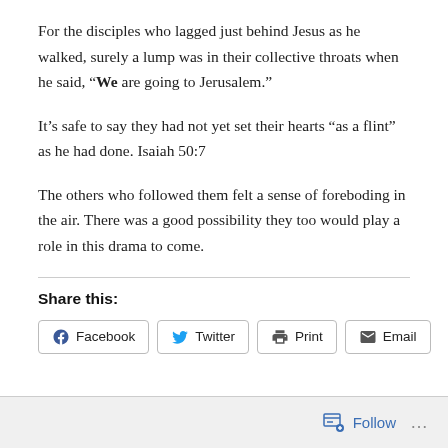For the disciples who lagged just behind Jesus as he walked, surely a lump was in their collective throats when he said, “We are going to Jerusalem.”
It’s safe to say they had not yet set their hearts “as a flint” as he had done. Isaiah 50:7
The others who followed them felt a sense of foreboding in the air. There was a good possibility they too would play a role in this drama to come.
Share this:
Facebook  Twitter  Print  Email